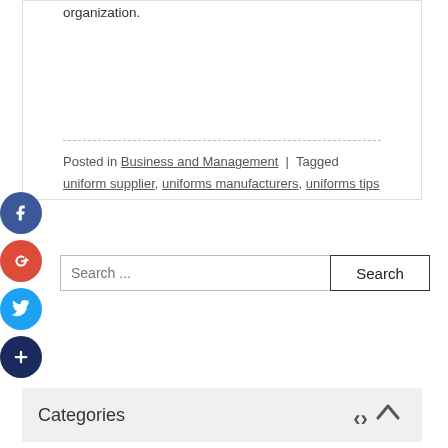organization.
Posted in Business and Management | Tagged uniform supplier, uniforms manufacturers, uniforms tips
[Figure (other): Social share icons: Facebook (blue circle with f), Google+ (red circle with g+), Twitter (blue circle with bird), Plus/more (dark blue circle with +)]
Search ...
Categories